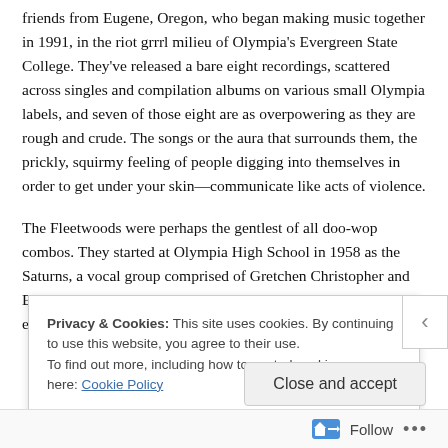friends from Eugene, Oregon, who began making music together in 1991, in the riot grrrl milieu of Olympia's Evergreen State College. They've released a bare eight recordings, scattered across singles and compilation albums on various small Olympia labels, and seven of those eight are as overpowering as they are rough and crude. The songs or the aura that surrounds them, the prickly, squirmy feeling of people digging into themselves in order to get under your skin—communicate like acts of violence.
The Fleetwoods were perhaps the gentlest of all doo-wop combos. They started at Olympia High School in 1958 as the Saturns, a vocal group comprised of Gretchen Christopher and E... e... s...
Privacy & Cookies: This site uses cookies. By continuing to use this website, you agree to their use.
To find out more, including how to control cookies, see here: Cookie Policy
Close and accept
Follow